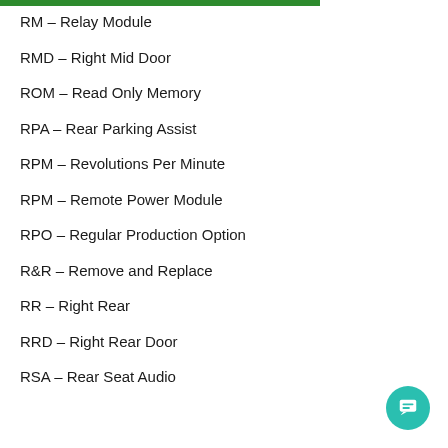RM – Relay Module
RMD – Right Mid Door
ROM – Read Only Memory
RPA – Rear Parking Assist
RPM – Revolutions Per Minute
RPM – Remote Power Module
RPO – Regular Production Option
R&R – Remove and Replace
RR – Right Rear
RRD – Right Rear Door
RSA – Rear Seat Audio